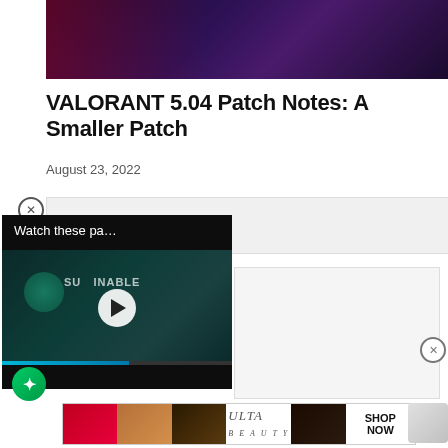[Figure (photo): Dark purple/maroon gaming-themed hero image banner at top]
VALORANT 5.04 Patch Notes: A Smaller Patch
August 23, 2022
[Figure (screenshot): Video widget overlay showing 'Watch these pa...' with play button on dark background, with SUSTAINABLE branding visible; progress bar at bottom]
[Figure (photo): Gray advertisement box area on the right side of page]
[Figure (photo): Bottom banner advertisement for ULTA Beauty showing makeup imagery with SHOP NOW call to action]